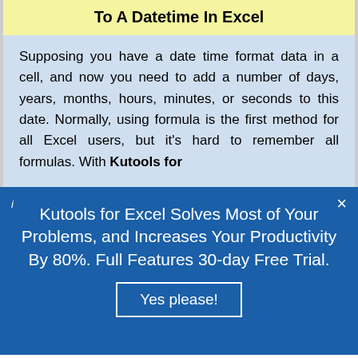To A Datetime In Excel
Supposing you have a date time format data in a cell, and now you need to add a number of days, years, months, hours, minutes, or seconds to this date. Normally, using formula is the first method for all Excel users, but it's hard to remember all formulas. With Kutools for
Kutools for Excel Solves Most of Your Problems, and Increases Your Productivity By 80%. Full Features 30-day Free Trial.
Yes please!